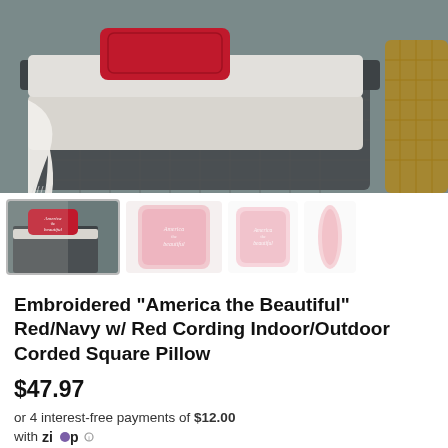[Figure (photo): Main product photo showing a red embroidered decorative pillow on a gray wicker outdoor furniture sofa with white cushions and a white throw blanket]
[Figure (photo): Thumbnail row showing 4 product images: (1) red pillow on outdoor sofa, (2) pink/light pillow front view, (3) smaller pink pillow front view, (4) pillow side/edge view]
Embroidered "America the Beautiful" Red/Navy w/ Red Cording Indoor/Outdoor Corded Square Pillow
$47.97
or 4 interest-free payments of $12.00
with Zip